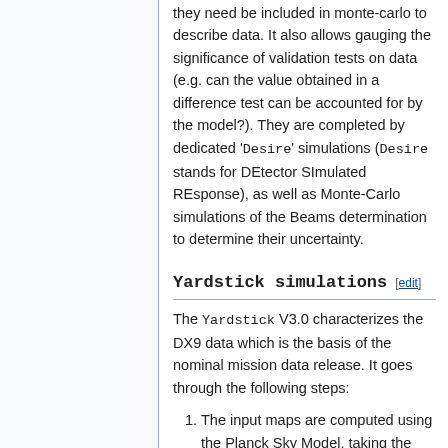they need be included in monte-carlo to describe data. It also allows gauging the significance of validation tests on data (e.g. can the value obtained in a difference test can be accounted for by the model?). They are completed by dedicated 'Desire' simulations (Desire stands for DEtector SImulated REsponse), as well as Monte-Carlo simulations of the Beams determination to determine their uncertainty.
Yardstick simulations [edit]
The Yardstick V3.0 characterizes the DX9 data which is the basis of the nominal mission data release. It goes through the following steps:
The input maps are computed using the Planck Sky Model, taking the RIMO bandpasses as